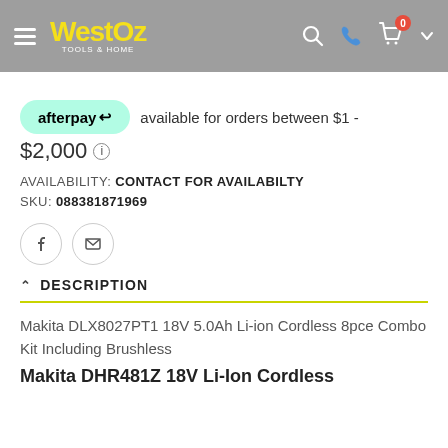WestOz Tools & Home — navigation header
afterpay available for orders between $1 - $2,000 ℹ
AVAILABILITY: CONTACT FOR AVAILABILTY
SKU: 088381871969
[Figure (other): Facebook share icon and email icon buttons]
DESCRIPTION
Makita DLX8027PT1 18V 5.0Ah Li-ion Cordless 8pce Combo Kit Including Brushless
Makita DHR481Z 18V Li-Ion Cordless